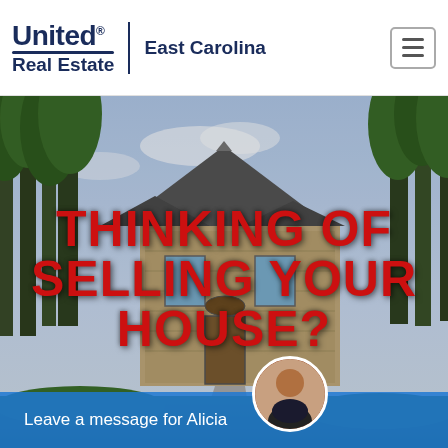[Figure (logo): United Real Estate logo with swoosh underline, vertical divider, and 'East Carolina' text alongside hamburger menu button]
[Figure (photo): Exterior photo of a large stone house with Gothic architectural elements surrounded by tall trees, with bold red text overlay reading 'THINKING OF SELLING YOUR HOUSE?' and a blue chat bar at the bottom reading 'Leave a message for Alicia' with an avatar photo of a woman.]